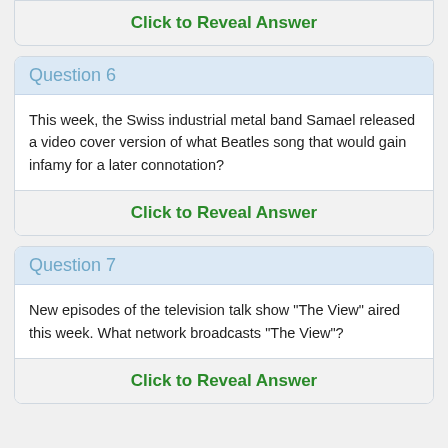Click to Reveal Answer
Question 6
This week, the Swiss industrial metal band Samael released a video cover version of what Beatles song that would gain infamy for a later connotation?
Click to Reveal Answer
Question 7
New episodes of the television talk show "The View" aired this week. What network broadcasts "The View"?
Click to Reveal Answer